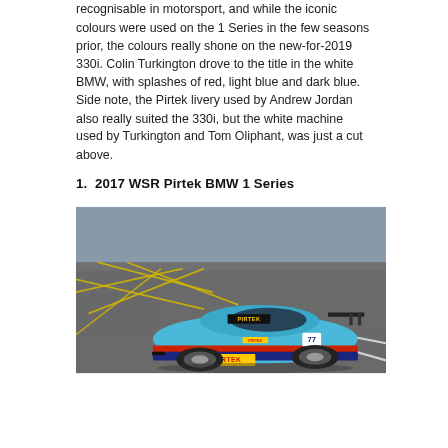recognisable in motorsport, and while the iconic colours were used on the 1 Series in the few seasons prior, the colours really shone on the new-for-2019 330i. Colin Turkington drove to the title in the white BMW, with splashes of red, light blue and dark blue. Side note, the Pirtek livery used by Andrew Jordan also really suited the 330i, but the white machine used by Turkington and Tom Oliphant, was just a cut above.
1.  2017 WSR Pirtek BMW 1 Series
[Figure (photo): A light blue BMW 1 Series race car with Pirtek livery (red, yellow accents, number 77) on a racing circuit tarmac with yellow grid markings visible.]